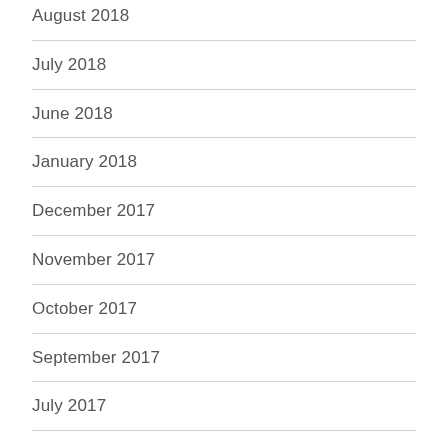August 2018
July 2018
June 2018
January 2018
December 2017
November 2017
October 2017
September 2017
July 2017
June 2017